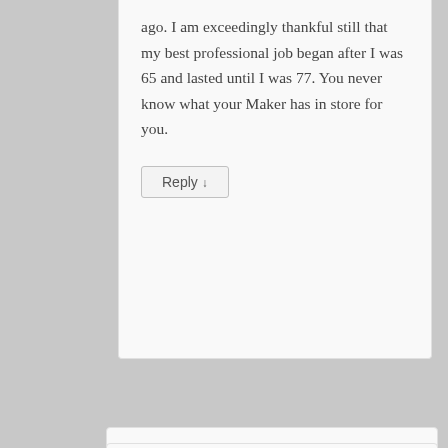ago. I am exceedingly thankful still that my best professional job began after I was 65 and lasted until I was 77. You never know what your Maker has in store for you.
Reply ↓
[Figure (photo): Avatar photo of Gail Kittleson, a woman with short blonde-gray hair, smiling, wearing a red patterned top, blue background]
Gail kittleson on October 8, 2018 at 10:13 am said:
I'm so glad Mary's story can encourage you, Joy. I hope you get to write LIKE CRAZY!!! (:
Reply ↓